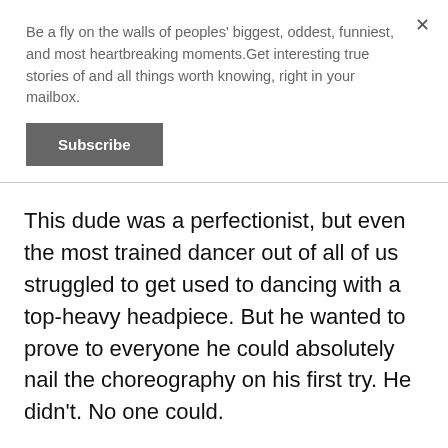Be a fly on the walls of peoples' biggest, oddest, funniest, and most heartbreaking moments.Get interesting true stories of and all things worth knowing, right in your mailbox.
Subscribe
This dude was a perfectionist, but even the most trained dancer out of all of us struggled to get used to dancing with a top-heavy headpiece. But he wanted to prove to everyone he could absolutely nail the choreography on his first try. He didn't. No one could.